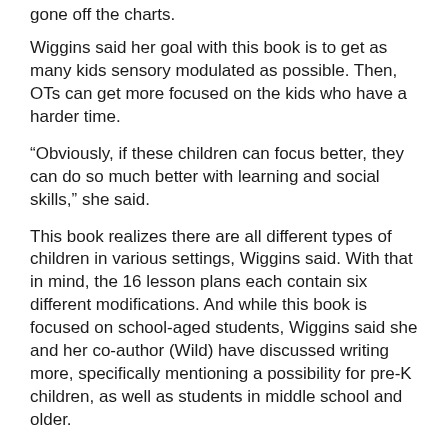gone off the charts.
Wiggins said her goal with this book is to get as many kids sensory modulated as possible. Then, OTs can get more focused on the kids who have a harder time.
“Obviously, if these children can focus better, they can do so much better with learning and social skills,” she said.
This book realizes there are all different types of children in various settings, Wiggins said. With that in mind, the 16 lesson plans each contain six different modifications. And while this book is focused on school-aged students, Wiggins said she and her co-author (Wild) have discussed writing more, specifically mentioning a possibility for pre-K children, as well as students in middle school and older.
“It’s really hard to write a book,” she said. “There’s so much involved, things you don’t think of. But expanding the reach is definitely a possibility.”
To learn more about the book and curriculum visit www.OTKimWiggins.com